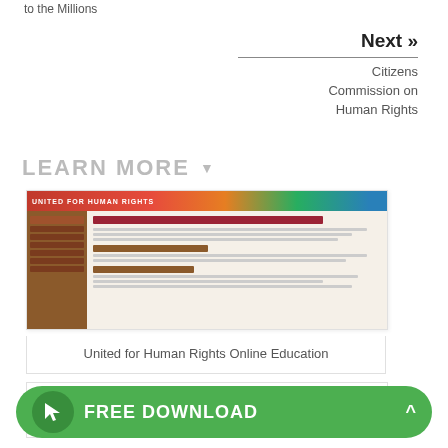to the Millions
Next »
Citizens Commission on Human Rights
LEARN MORE ▼
[Figure (screenshot): Screenshot of United for Human Rights website showing navigation menu, colorful header, and article content]
United for Human Rights Online Education
[Figure (screenshot): Tablet device showing a book/publication with dark brown cover]
FREE DOWNLOAD